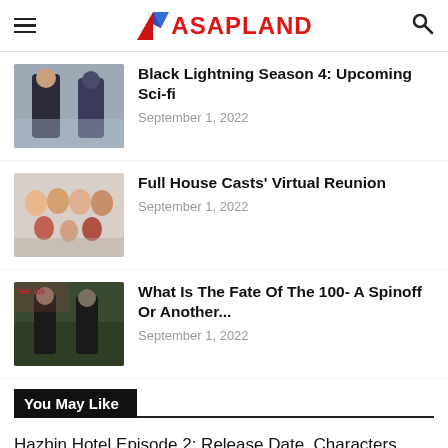ASAPLAND
[Figure (photo): Two figures in dark costume, one in a suit, one in a superhero suit, against a light background - Black Lightning promo image]
Black Lightning Season 4: Upcoming Sci-fi
September 1, 2022
[Figure (photo): Group photo of Full House cast - multiple adults and children posing together]
Full House Casts' Virtual Reunion
September 1, 2022
[Figure (photo): Two figures in dark clothing in a forest setting - The 100 promo image]
What Is The Fate Of The 100- A Spinoff Or Another...
September 1, 2022
You May Like
Hazbin Hotel Episode 2: Release Date, Characters, and Everything You Should Know